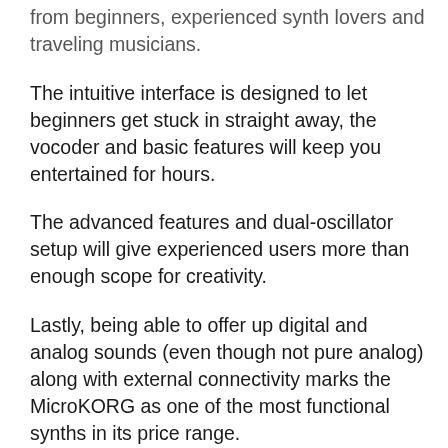from beginners, experienced synth lovers and traveling musicians.
The intuitive interface is designed to let beginners get stuck in straight away, the vocoder and basic features will keep you entertained for hours.
The advanced features and dual-oscillator setup will give experienced users more than enough scope for creativity.
Lastly, being able to offer up digital and analog sounds (even though not pure analog) along with external connectivity marks the MicroKORG as one of the most functional synths in its price range.